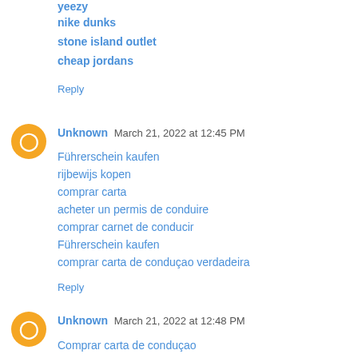yeezy
nike dunks
stone island outlet
cheap jordans
Reply
Unknown  March 21, 2022 at 12:45 PM
Führerschein kaufen
rijbewijs kopen
comprar carta
acheter un permis de conduire
comprar carnet de conducir
Führerschein kaufen
comprar carta de conduçao verdadeira
Reply
Unknown  March 21, 2022 at 12:48 PM
Comprar carta de conduçao